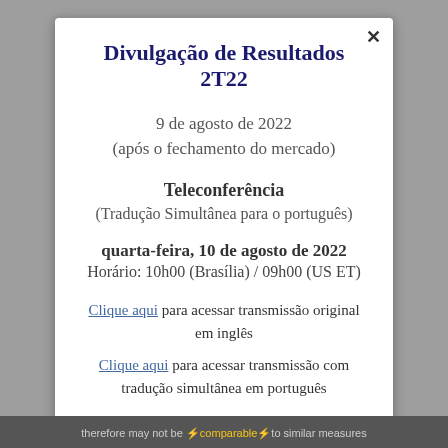Divulgação de Resultados 2T22
9 de agosto de 2022
(após o fechamento do mercado)
Teleconferência
(Tradução Simultânea para o português)
quarta-feira, 10 de agosto de 2022
Horário: 10h00 (Brasília) / 09h00 (US ET)
Clique aqui para acessar transmissão original em inglês
Clique aqui para acessar transmissão com tradução simultânea em português
therefore may not be comparable to similar measures